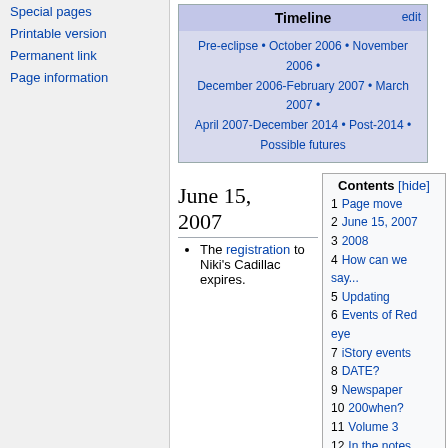Special pages
Printable version
Permanent link
Page information
| Timeline | edit |
| --- | --- |
| Pre-eclipse • October 2006 • November 2006 • December 2006-February 2007 • March 2007 • April 2007-December 2014 • Post-2014 • Possible futures |
June 15, 2007
The registration to Niki's Cadillac expires.
| Contents [hide] |
| --- |
| 1 | Page move |
| 2 | June 15, 2007 |
| 3 | 2008 |
| 4 | How can we say... |
| 5 | Updating |
| 6 | Events of Red eye |
| 7 | iStory events |
| 8 | DATE? |
| 9 | Newspaper |
| 10 | 200when? |
| 11 | Volume 3 |
| 12 | In the notes section |
| 13 | Halloween? |
| 14 | 2007/2008/2009 |
| 14.1 | 2007 |
| 14.2 | 2008 |